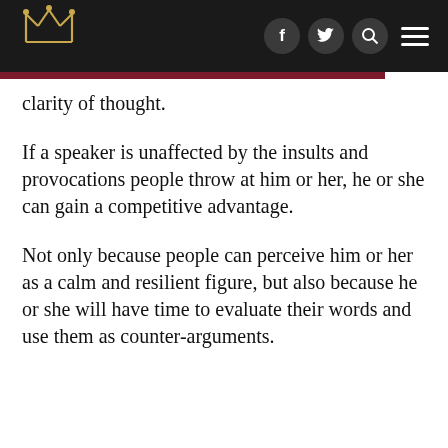[Logo] f [twitter] [search] [menu]
clarity of thought.
If a speaker is unaffected by the insults and provocations people throw at him or her, he or she can gain a competitive advantage.
Not only because people can perceive him or her as a calm and resilient figure, but also because he or she will have time to evaluate their words and use them as counter-arguments.